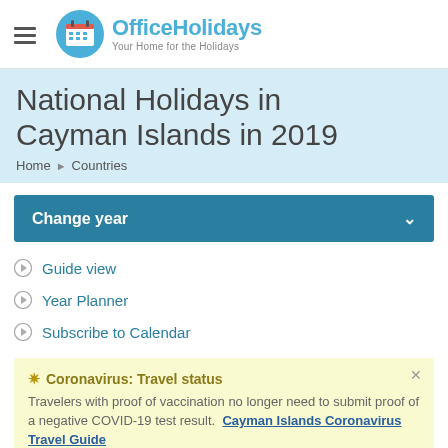[Figure (logo): OfficeHolidays logo with calendar icon in blue circle and tagline 'Your Home for the Holidays']
National Holidays in Cayman Islands in 2019
Home ▶ Countries
Change year
Guide view
Year Planner
Subscribe to Calendar
Coronavirus: Travel status
Travelers with proof of vaccination no longer need to submit proof of a negative COVID-19 test result. Cayman Islands Coronavirus Travel Guide